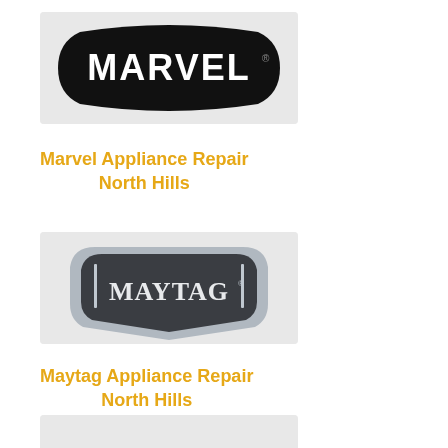[Figure (logo): Marvel brand logo: white text 'MARVEL' on a black shield/badge shape with curved top and bottom edges on a light gray background]
Marvel Appliance Repair North Hills
[Figure (logo): Maytag brand logo: silver/chrome 3D badge with dark gray center, white text 'MAYTAG' with registered trademark symbol, metallic shield shape with pointed bottom]
Maytag Appliance Repair North Hills
[Figure (logo): Partially visible brand logo at the bottom of the page, blue color visible]